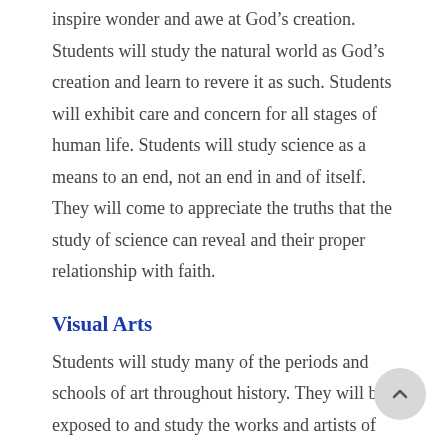inspire wonder and awe at God's creation. Students will study the natural world as God's creation and learn to revere it as such. Students will exhibit care and concern for all stages of human life. Students will study science as a means to an end, not an end in and of itself. They will come to appreciate the truths that the study of science can reveal and their proper relationship with faith.
Visual Arts
Students will study many of the periods and schools of art throughout history. They will be exposed to and study the works and artists of Impressionism, Post-Impressionism, Expressionism, Abstraction, and Modern